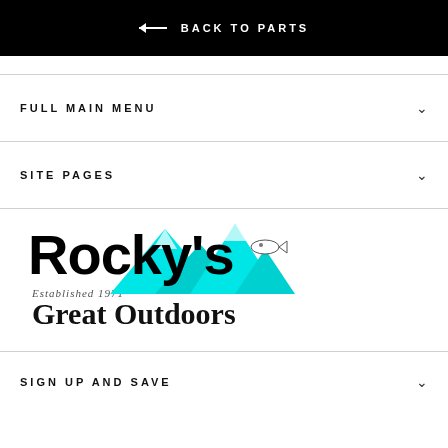← BACK TO PARTS
FULL MAIN MENU
SITE PAGES
[Figure (logo): Rocky's Great Outdoors logo with cyan mountain peaks, a fish graphic, large black serif R and Rocky's text, 'Established 1971' italic subtitle, and 'Great Outdoors' bold text below]
SIGN UP AND SAVE